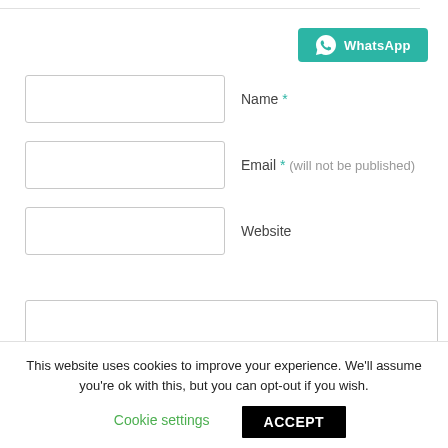[Figure (screenshot): WhatsApp share button with teal background and WhatsApp logo icon]
Name *
Email * (will not be published)
Website
This website uses cookies to improve your experience. We'll assume you're ok with this, but you can opt-out if you wish.
Cookie settings
ACCEPT